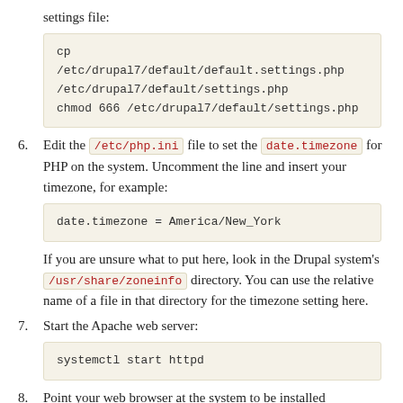settings file:
cp /etc/drupal7/default/default.settings.php /etc/drupal7/default/settings.php
chmod 666 /etc/drupal7/default/settings.php
6. Edit the /etc/php.ini file to set the date.timezone for PHP on the system. Uncomment the line and insert your timezone, for example:
date.timezone = America/New_York
If you are unsure what to put here, look in the Drupal system's /usr/share/zoneinfo directory. You can use the relative name of a file in that directory for the timezone setting here.
7. Start the Apache web server:
systemctl start httpd
8. Point your web browser at the system to be installed